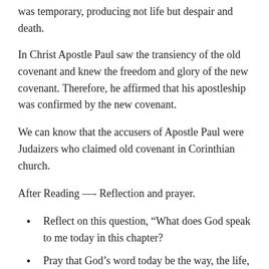was temporary, producing not life but despair and death.
In Christ Apostle Paul saw the transiency of the old covenant and knew the freedom and glory of the new covenant. Therefore, he affirmed that his apostleship was confirmed by the new covenant.
We can know that the accusers of Apostle Paul were Judaizers who claimed old covenant in Corinthian church.
After Reading —- Reflection and prayer.
Reflect on this question, “What does God speak to me today in this chapter?
Pray that God’s word today be the way, the life,